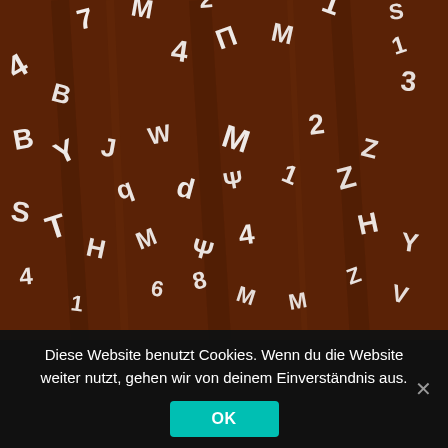[Figure (photo): Overhead photo of scattered white plastic or foam letter and number tiles on a dark brown wooden surface. The tiles appear to be alphabet/number fridge magnets or puzzle pieces in various orientations.]
Diese Website benutzt Cookies. Wenn du die Website weiter nutzt, gehen wir von deinem Einverständnis aus.